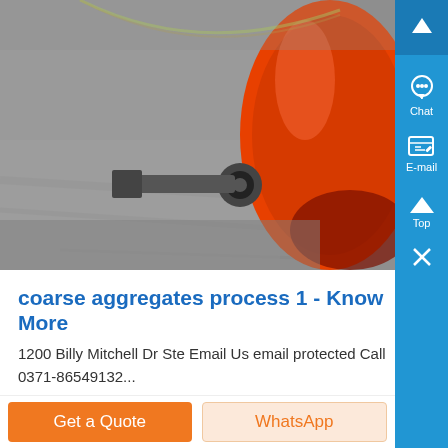[Figure (photo): Close-up photo of industrial machinery — an orange roller or drum component against a gray concrete/metal surface, appears to be quarry or aggregate processing equipment]
coarse aggregates process 1 - Know More
1200 Billy Mitchell Dr Ste Email Us email protected Call 0371-86549132...
Get a Quote
WhatsApp